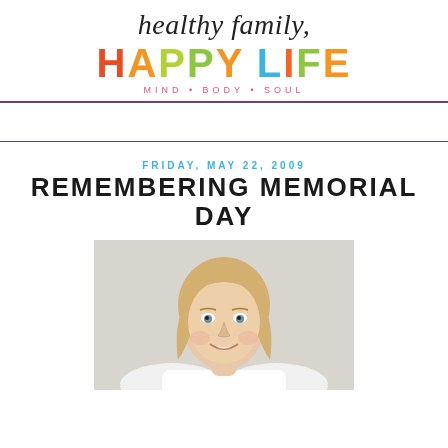healthy family, HAPPY LIFE
MIND • BODY • SOUL
FRIDAY, MAY 22, 2009
REMEMBERING MEMORIAL DAY
[Figure (photo): Portrait photo of a smiling blonde woman against a light grey background]